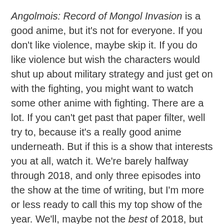Angolmois: Record of Mongol Invasion is a good anime, but it's not for everyone. If you don't like violence, maybe skip it. If you do like violence but wish the characters would shut up about military strategy and just get on with the fighting, you might want to watch some other anime with fighting. There are a lot. If you can't get past that paper filter, well try to, because it's a really good anime underneath. But if this is a show that interests you at all, watch it. We're barely halfway through 2018, and only three episodes into the show at the time of writing, but I'm more or less ready to call this my top show of the year. We'll, maybe not the best of 2018, but the best new show of 2018. And you know what? I'm willing to bet I like it more than some of the returning shows this year as well.